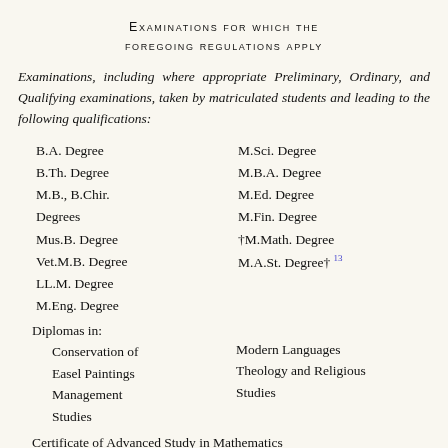Examinations for which the foregoing regulations apply
Examinations, including where appropriate Preliminary, Ordinary, and Qualifying examinations, taken by matriculated students and leading to the following qualifications:
B.A. Degree
B.Th. Degree
M.B., B.Chir. Degrees
Mus.B. Degree
Vet.M.B. Degree
LL.M. Degree
M.Eng. Degree
M.Sci. Degree
M.B.A. Degree
M.Ed. Degree
M.Fin. Degree
†M.Math. Degree
M.A.St. Degree† 13
Diplomas in: Conservation of Easel Paintings, Management Studies
Modern Languages, Theology and Religious Studies
Certificate of Advanced Study in Mathematics
Certificate in Humanities Computing for